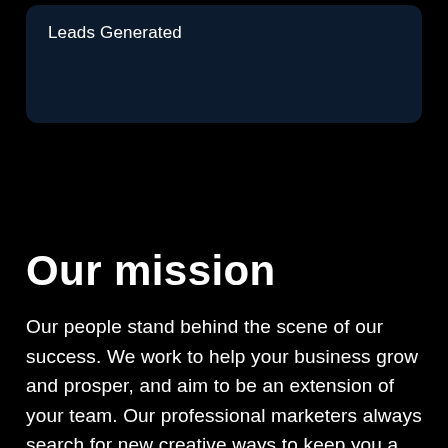Leads Generated
Our mission
Our people stand behind the scene of our success. We work to help your business grow and prosper, and aim to be an extension of your team. Our professional marketers always search for new creative ways to keep you a step ahead of the competition and create an adaptable support system to assist you in achieving your business